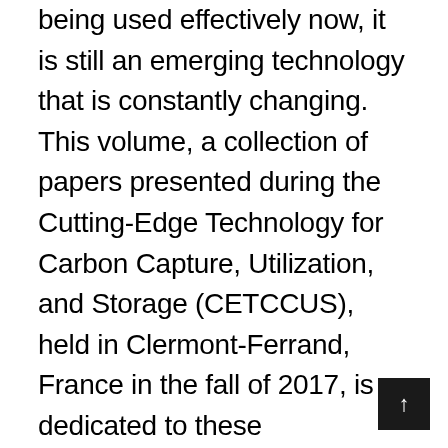being used effectively now, it is still an emerging technology that is constantly changing. This volume, a collection of papers presented during the Cutting-Edge Technology for Carbon Capture, Utilization, and Storage (CETCCUS), held in Clermont-Ferrand, France in the fall of 2017, is dedicated to these technologies that surround CO2 capture. Written by some of the most well-known engineers and scientists in the world on this topic, the editors, also globally known, have chosen the most important and cutting-edge papers that address these issues to present in this groundbreaking new volume, which follows their industry-leading series Advances in Natural Gas Engineering, a seven-